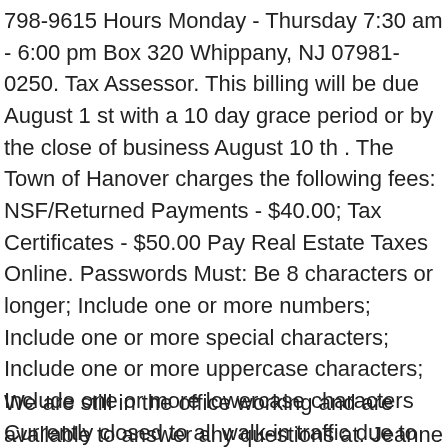798-9615 Hours Monday - Thursday 7:30 am - 6:00 pm Box 320 Whippany, NJ 07981-0250. Tax Assessor. This billing will be due August 1 st with a 10 day grace period or by the close of business August 10 th . The Town of Hanover charges the following fees: NSF/Returned Payments - $40.00; Tax Certificates - $50.00 Pay Real Estate Taxes Online. Passwords Must: Be 8 characters or longer; Include one or more numbers; Include one or more special characters; Include one or more uppercase characters; Include one or more lowercase characters Currently closed to all walk-in traffic due to COVID-19 with tentative plans to reopen on February 15, 2021. hliska@borotax.net
We are still in the office working and are available to answer any questions at. Jeanne Ebersole SCAA, Assessor. Payments